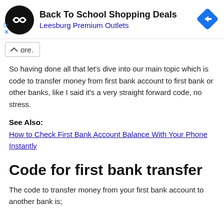[Figure (other): Advertisement banner for Back To School Shopping Deals at Leesburg Premium Outlets with circular black logo, navigation arrow icon, and ad controls]
ore.
So having done all that let's dive into our main topic which is code to transfer money from first bank account to first bank or other banks, like I said it's a very straight forward code, no stress.
See Also: How to Check First Bank Account Balance With Your Phone Instantly
Code for first bank transfer
The code to transfer money from your first bank account to another bank is;